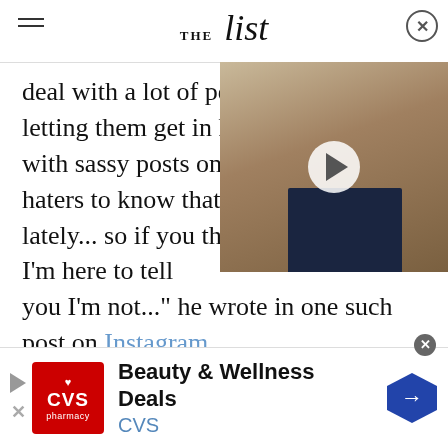THE list
deal with a lot of people who letting them get in his way. In with sassy posts on social me haters to know that I've been lately... so if you think I'm dying soon, I'm here to tell you I'm not..." he wrote in one such post on Instagram.
[Figure (photo): Video thumbnail showing a man in a suit with a play button overlay]
[Figure (screenshot): Advertisement banner for CVS Beauty & Wellness Deals]